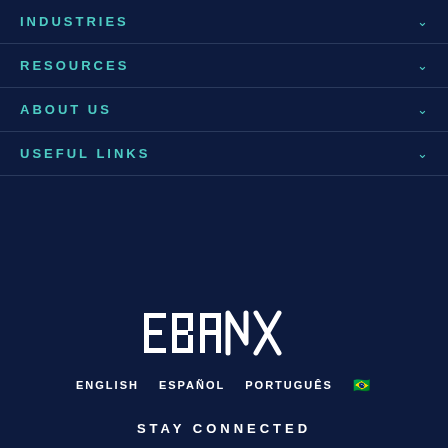INDUSTRIES
RESOURCES
ABOUT US
USEFUL LINKS
[Figure (logo): EBANX logo in white on dark navy background]
ENGLISH   ESPAÑOL   PORTUGUÊS   🇧🇷
STAY CONNECTED